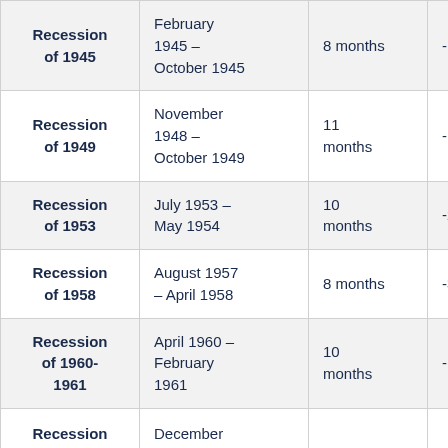| Name | Period | Duration | GDP Change |
| --- | --- | --- | --- |
| Recession of 1945 | February 1945 – October 1945 | 8 months | -12.7% |
| Recession of 1949 | November 1948 – October 1949 | 11 months | -1.7% |
| Recession of 1953 | July 1953 – May 1954 | 10 months | -2.6% |
| Recession of 1958 | August 1957 – April 1958 | 8 months | -3.7% |
| Recession of 1960-1961 | April 1960 – February 1961 | 10 months | -1.6% |
| Recession | December |  |  |